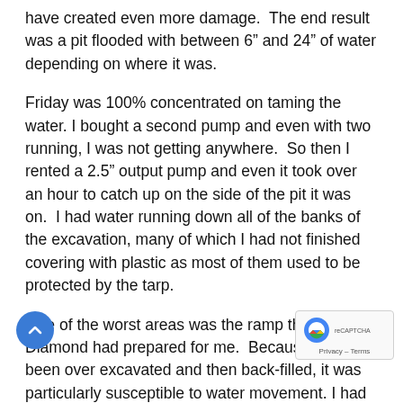have created even more damage.  The end result was a pit flooded with between 6" and 24" of water depending on where it was.
Friday was 100% concentrated on taming the water. I bought a second pump and even with two running, I was not getting anywhere.  So then I rented a 2.5" output pump and even it took over an hour to catch up on the side of the pit it was on.  I had water running down all of the banks of the excavation, many of which I had not finished covering with plastic as most of them used to be protected by the tarp.
One of the worst areas was the ramp that Diamond had prepared for me.  Because it had been over excavated and then back-filled, it was particularly susceptible to water movement. I had already put some plastic on the ramp, but water was just pouring down off the driveway in volumes that would fill a